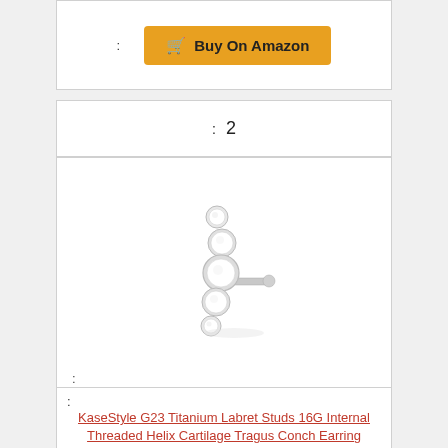[Figure (other): Buy On Amazon button with shopping cart icon, orange/gold background]
: 2
[Figure (photo): Silver titanium labret stud with four crystal bezel gems stacked vertically, on white background]
:
: KaseStyle G23 Titanium Labret Studs 16G Internal Threaded Helix Cartilage Tragus Conch Earring Monroe Cluster Piercing Jewelry (C: 1 pcs silver)